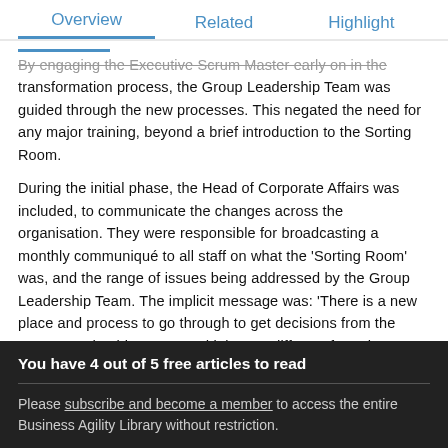Overview   Related   Highlight
By engaging the Executive Scrum Master early on in the transformation process, the Group Leadership Team was guided through the new processes. This negated the need for any major training, beyond a brief introduction to the Sorting Room.
During the initial phase, the Head of Corporate Affairs was included, to communicate the changes across the organisation. They were responsible for broadcasting a monthly communiqué to all staff on what the 'Sorting Room' was, and the range of issues being addressed by the Group Leadership Team. The implicit message was: 'There is a new place and process to go through to get decisions from the Group Leadership Team, and it is very different from the previous format'.
The transformation itself adopted an iterative approach. The
You have 4 out of 5 free articles to read
Please subscribe and become a member to access the entire Business Agility Library without restriction.